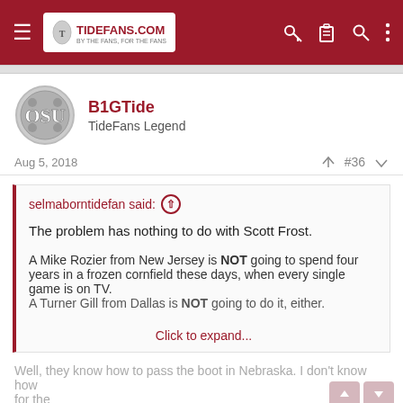TideFans.com
[Figure (logo): Ohio State Buckeyes helmet logo avatar for user B1GTide]
B1GTide
TideFans Legend
Aug 5, 2018   #36
selmaborntidefan said:
The problem has nothing to do with Scott Frost.
A Mike Rozier from New Jersey is NOT going to spend four years in a frozen cornfield these days, when every single game is on TV.
A Turner Gill from Dallas is NOT going to do it, either.
Click to expand...
Well, they know how to pass the boot in Nebraska. I don't know how for the...